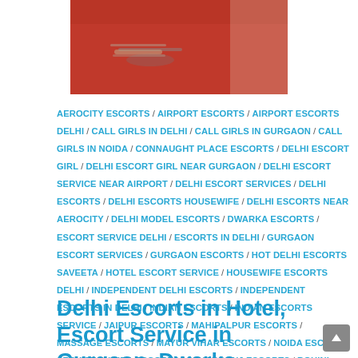[Figure (photo): Woman in red outfit, partial view showing wrist with bracelet]
AEROCITY ESCORTS / AIRPORT ESCORTS / AIRPORT ESCORTS DELHI / CALL GIRLS IN DELHI / CALL GIRLS IN GURGAON / CALL GIRLS IN NOIDA / CONNAUGHT PLACE ESCORTS / DELHI ESCORT GIRL / DELHI ESCORT GIRL NEAR GURGAON / DELHI ESCORT SERVICE NEAR AIRPORT / DELHI ESCORT SERVICES / DELHI ESCORTS / DELHI ESCORTS HOUSEWIFE / DELHI ESCORTS NEAR AEROCITY / DELHI MODEL ESCORTS / DWARKA ESCORTS / ESCORT SERVICE DELHI / ESCORTS IN DELHI / GURGAON ESCORT SERVICES / GURGAON ESCORTS / HOT DELHI ESCORTS SAVEETA / HOTEL ESCORT SERVICE / HOUSEWIFE ESCORTS DELHI / INDEPENDENT DELHI ESCORTS / INDEPENDENT ESCORTS IN DELHI / INDIAN ESCORTS / INDIAN ESCORTS SERVICE / JAIPUR ESCORTS / MAHIPALPUR ESCORTS / MASSAGE ESCORTS / MAYUR VIHAR ESCORTS / NOIDA ESCORT SERVICE / NOIDA ESCORTS / PAHARGANJ ESCORTS / ROHINI ESCORTS / SAKET ESCORTS / SAVEETA DELHI ESCORTS / SEXY DELHI ESCORTS / VASANT KUNJ ESCORTS
Delhi Escorts in Hotel, Escort Service in Gurgaon, Dwarka,